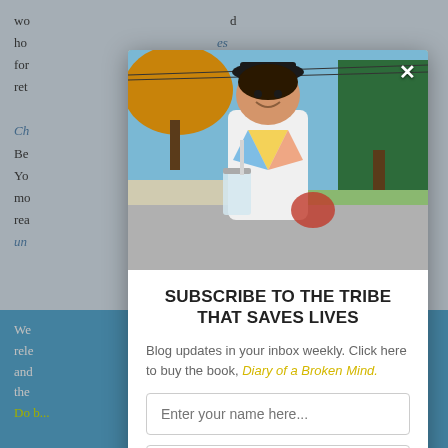wo... ho... for... ret... Ch... Be... h. Yo... mo... rea... un... ad We... rele... ices and ... to the...
[Figure (photo): Young man smiling outdoors holding a drink, wearing a white t-shirt with colorful design, trees visible in background]
SUBSCRIBE TO THE TRIBE THAT SAVES LIVES
Blog updates in your inbox weekly. Click here to buy the book, Diary of a Broken Mind.
Enter your name here...
Enter your email here...